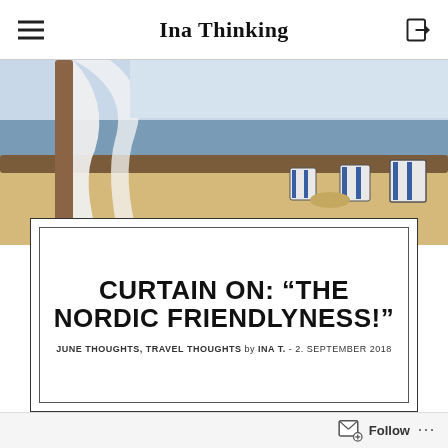Ina Thinking
[Figure (photo): Beach scene viewed through curtains, with blue and white striped beach chairs (Strandkörbe) on sandy beach, sea in background, wooden beam in foreground]
CURTAIN ON: "THE NORDIC FRIENDLYNESS!"
JUNE THOUGHTS, TRAVEL THOUGHTS by INA T. - 2. SEPTEMBER 2018
Follow ...